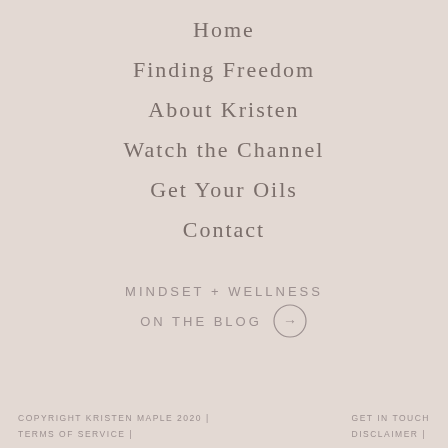Home
Finding Freedom
About Kristen
Watch the Channel
Get Your Oils
Contact
MINDSET + WELLNESS
ON THE BLOG →
COPYRIGHT KRISTEN MAPLE 2020 | TERMS OF SERVICE |   GET IN TOUCH   DISCLAIMER |